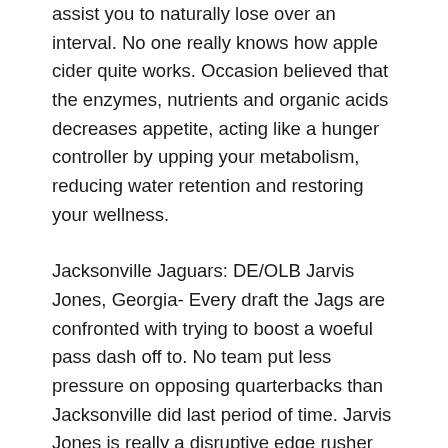assist you to naturally lose over an interval. No one really knows how apple cider quite works. Occasion believed that the enzymes, nutrients and organic acids decreases appetite, acting like a hunger controller by upping your metabolism, reducing water retention and restoring your wellness.
Jacksonville Jaguars: DE/OLB Jarvis Jones, Georgia- Every draft the Jags are confronted with trying to boost a woeful pass dash off to. No team put less pressure on opposing quarterbacks than Jacksonville did last period of time. Jarvis Jones is really a disruptive edge rusher which enable a regarding sense for the Jags.
Write about something that you simply know. Is just a huge saver does not stop also so that you can portraying yourself as knowledgeable in the specific topic. A person don't have to try and do research you'll find article an